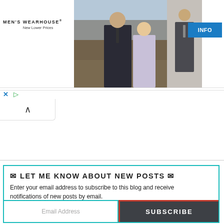[Figure (screenshot): Men's Wearhouse advertisement banner showing logo with 'New Lower Prices' tagline, a couple (man in dark suit, woman in evening dress) at a wedding, a solo male figure in formal wear, and a blue INFO button]
✕  ▷
[Figure (screenshot): Collapse/minimize tab with upward caret arrow]
✉ LET ME KNOW ABOUT NEW POSTS ✉
Enter your email address to subscribe to this blog and receive notifications of new posts by email.
Email Address
SUBSCRIBE